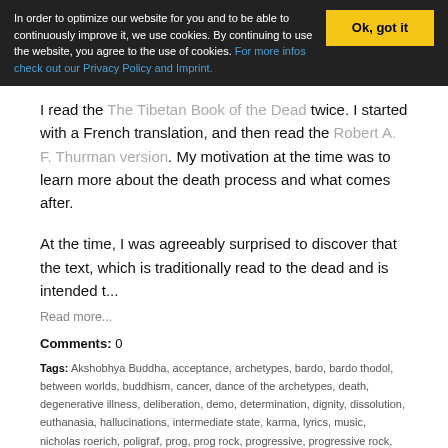In order to optimize our website for you and to be able to continuously improve it, we use cookies. By continuing to use the website, you agree to the use of cookies. For more infos check out our Privacy Policy and Imprint.
I read the The Tibetan Book of the Dead twice. I started with a French translation, and then read the Robert A. F. Thurman version. My motivation at the time was to learn more about the death process and what comes after.
At the time, I was agreeably surprised to discover that the text, which is traditionally read to the dead and is intended t...
Read more...
Comments: 0
Tags: Akshobhya Buddha, acceptance, archetypes, bardo, bardo thodol, between worlds, buddhism, cancer, dance of the archetypes, death, degenerative illness, deliberation, demo, determination, dignity, dissolution, euthanasia, hallucinations, intermediate state, karma, lyrics, music, nicholas roerich, poligraf, prog, prog rock, progressive, progressive rock, québec, rebirth, robert a. f. thurman, rock, suite, tibet, tibetan book of the dead, wikipedia